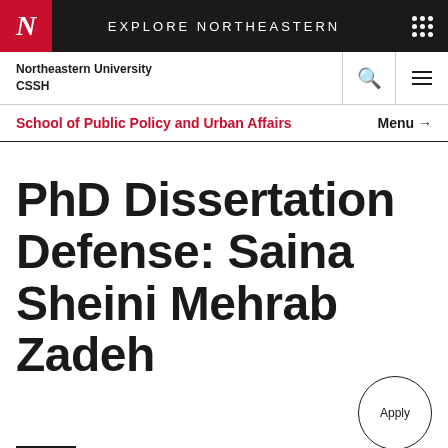EXPLORE NORTHEASTERN
Northeastern University CSSH
School of Public Policy and Urban Affairs
PhD Dissertation Defense: Saina Sheini Mehrab Zadeh